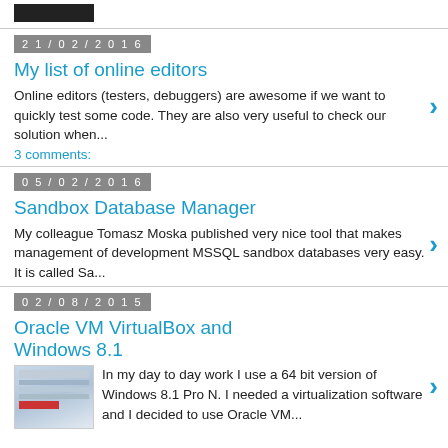[Figure (screenshot): Small dark/black image thumbnail at top of page]
21/02/2016
My list of online editors
Online editors (testers, debuggers) are awesome if we want to quickly test some code. They are also very useful to check our solution when...
3 comments:
05/02/2016
Sandbox Database Manager
My colleague Tomasz Moska published very nice tool that makes management of development MSSQL sandbox databases very easy. It is called Sa...
02/08/2015
Oracle VM VirtualBox and Windows 8.1
[Figure (screenshot): Small screenshot thumbnail for Oracle VM VirtualBox post]
In my day to day work I use a 64 bit version of Windows 8.1 Pro N. I needed a virtualization software and I decided to use Oracle VM...